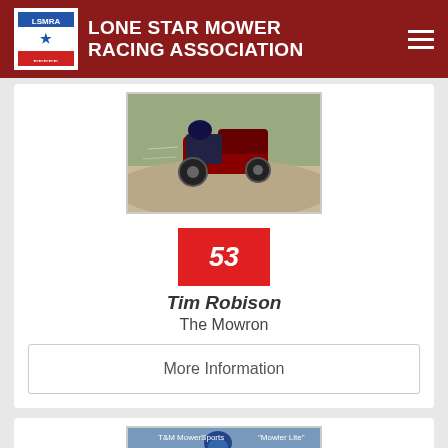Lone Star Mower Racing Association
[Figure (photo): Racing lawn mower on a dirt track, viewed from the side]
53
Tim Robison
The Mowron
More Information
[Figure (photo): Partial view of another racer - T&M MowerSports 'Mowler Lite' with helmeted rider]